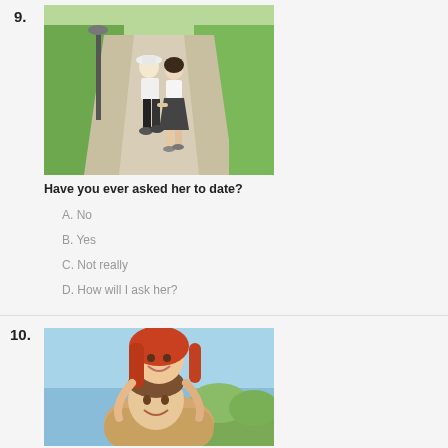9.
[Figure (photo): Couple walking hand in hand on a park path, viewed from behind. A man in white t-shirt and black pants and a woman in white top and dark skirt walk together on a paved path surrounded by green grass and a lamppost.]
Have you ever asked her to date?
A. No
B. Yes
C. Not really
D. How will I ask her?
10.
[Figure (photo): A smiling young couple outdoors. A red-haired woman leans over a smiling young man's back as he gives her a piggyback ride. Blue sky and green foliage in background.]